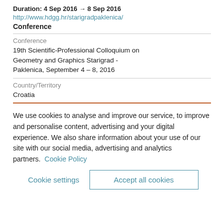Duration: 4 Sep 2016 → 8 Sep 2016
http://www.hdgg.hr/starigradpaklenica/
Conference
Conference
19th Scientific-Professional Colloquium on Geometry and Graphics Starigrad - Paklenica, September 4 – 8, 2016
Country/Territory
Croatia
We use cookies to analyse and improve our service, to improve and personalise content, advertising and your digital experience. We also share information about your use of our site with our social media, advertising and analytics partners.  Cookie Policy
Cookie settings
Accept all cookies